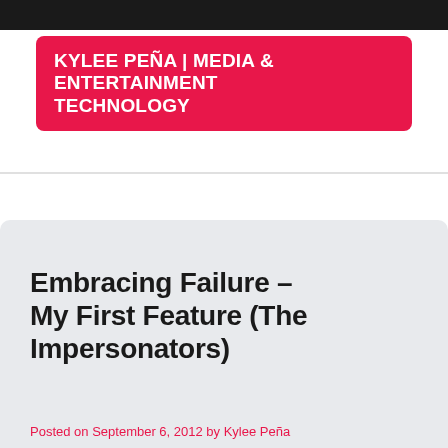KYLEE PEÑA | MEDIA & ENTERTAINMENT TECHNOLOGY
Embracing Failure – My First Feature (The Impersonators)
Posted on September 6, 2012 by Kylee Peña